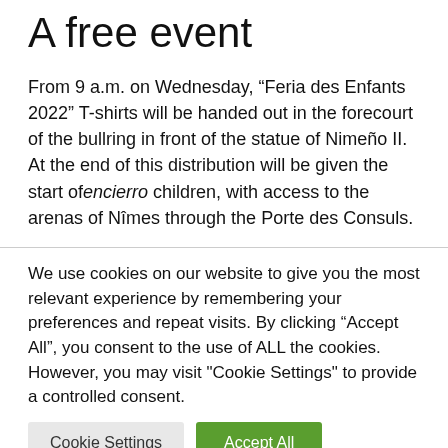A free event
From 9 a.m. on Wednesday, “Feria des Enfants 2022” T-shirts will be handed out in the forecourt of the bullring in front of the statue of Nimeño II. At the end of this distribution will be given the start of encierro children, with access to the arenas of Nîmes through the Porte des Consuls.
We use cookies on our website to give you the most relevant experience by remembering your preferences and repeat visits. By clicking “Accept All”, you consent to the use of ALL the cookies. However, you may visit "Cookie Settings" to provide a controlled consent.
Cookie Settings
Accept All